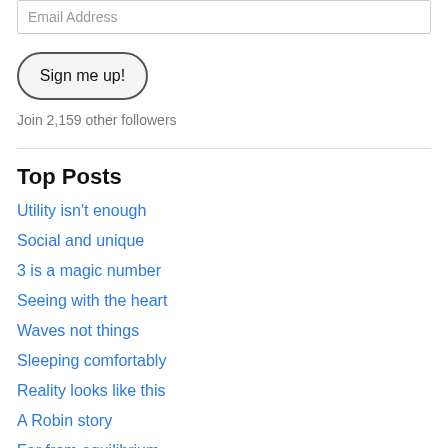Email Address
Sign me up!
Join 2,159 other followers
Top Posts
Utility isn't enough
Social and unique
3 is a magic number
Seeing with the heart
Waves not things
Sleeping comfortably
Reality looks like this
A Robin story
Far from equilibrium
What's most important in health care?